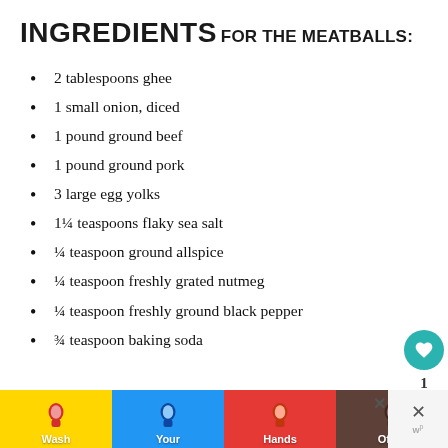INGREDIENTS
FOR THE MEATBALLS:
2 tablespoons ghee
1 small onion, diced
1 pound ground beef
1 pound ground pork
3 large egg yolks
1¼ teaspoons flaky sea salt
¼ teaspoon ground allspice
¼ teaspoon freshly grated nutmeg
¼ teaspoon freshly ground black pepper
¾ teaspoon baking soda
[Figure (infographic): Advertisement banner: Wash Your Hands Often hand-washing public health ad with colorful hand icons]